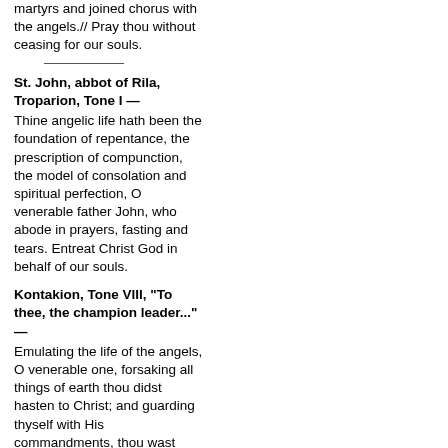martyrs and joined chorus with the angels.// Pray thou without ceasing for our souls.
St. John, abbot of Rila, Troparion, Tone I —
Thine angelic life hath been the foundation of repentance, the prescription of compunction, the model of consolation and spiritual perfection, O venerable father John, who abode in prayers, fasting and tears. Entreat Christ God in behalf of our souls.
Kontakion, Tone VIII, "To thee, the champion leader..." —
Emulating the life of the angels, O venerable one, forsaking all things of earth thou didst hasten to Christ; and guarding thyself with His commandments, thou wast shown to be a tower unshaken by the assaults of the enemy. Wherefore, we cry out to thee: Rejoice, O father John, thou all-radiant